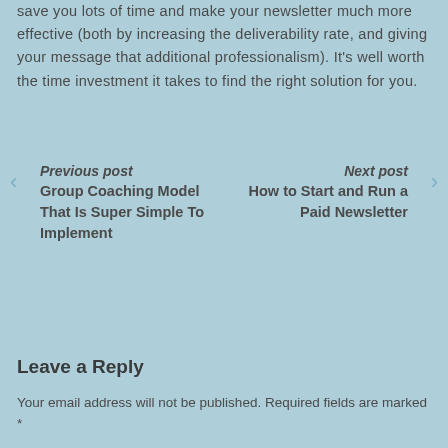save you lots of time and make your newsletter much more effective (both by increasing the deliverability rate, and giving your message that additional professionalism). It's well worth the time investment it takes to find the right solution for you.
Previous post Group Coaching Model That Is Super Simple To Implement | Next post How to Start and Run a Paid Newsletter
Leave a Reply
Your email address will not be published. Required fields are marked *